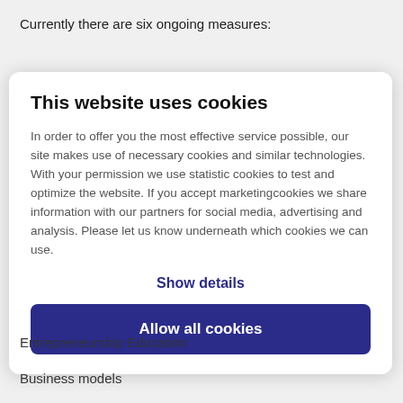Currently there are six ongoing measures:
This website uses cookies

In order to offer you the most effective service possible, our site makes use of necessary cookies and similar technologies. With your permission we use statistic cookies to test and optimize the website. If you accept marketingcookies we share information with our partners for social media, advertising and analysis. Please let us know underneath which cookies we can use.

Show details

Allow all cookies
Entrepreneurship Education
Business models